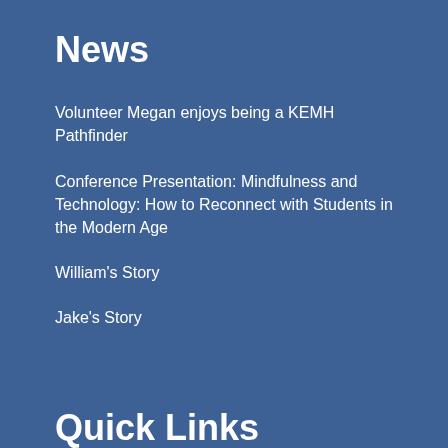News
Volunteer Megan enjoys being a KEMH Pathfinder
Conference Presentation: Mindfulness and Technology: How to Reconnect with Students in the Modern Age
William's Story
Jake's Story
Quick Links
Home
About Us
What You Can Do